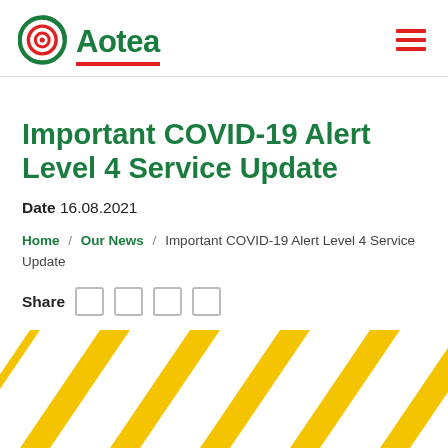Aotea
Important COVID-19 Alert Level 4 Service Update
Date 16.08.2021
Home / Our News / Important COVID-19 Alert Level 4 Service Update
Share
[Figure (illustration): Yellow and white diagonal hazard stripe banner at the bottom of the page]